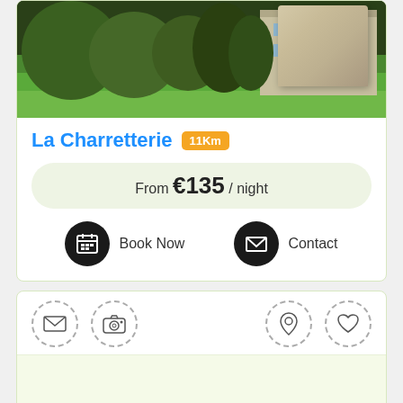[Figure (photo): Photo of La Charretterie property showing green lawn and building in background]
La Charretterie 11Km
From €135 / night
Book Now
Contact
[Figure (screenshot): UI toolbar with icons: envelope, camera, map pin, heart. Below is a green-tinted content area partially showing another listing.]